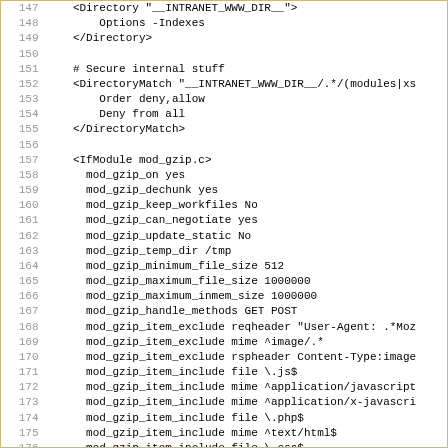Code listing lines 147-178 showing Apache configuration directives including Directory, DirectoryMatch, and IfModule mod_gzip.c blocks